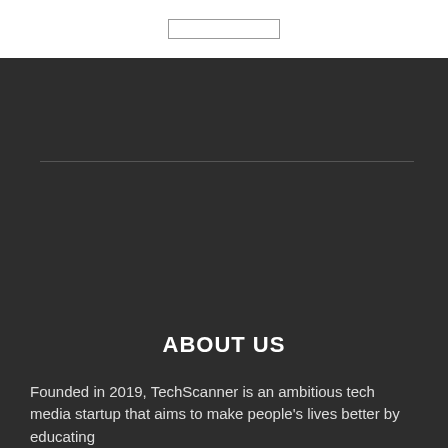[Figure (other): White top navigation bar with a search input box centered]
ABOUT US
Founded in 2019, TechScanner is an ambitious tech media startup that aims to make people's lives better by educating